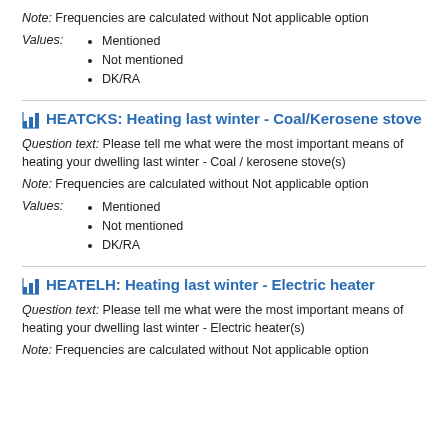Note: Frequencies are calculated without Not applicable option
Values:
Mentioned
Not mentioned
DK/RA
HEATCKS: Heating last winter - Coal/Kerosene stove
Question text: Please tell me what were the most important means of heating your dwelling last winter - Coal / kerosene stove(s)
Note: Frequencies are calculated without Not applicable option
Values:
Mentioned
Not mentioned
DK/RA
HEATELH: Heating last winter - Electric heater
Question text: Please tell me what were the most important means of heating your dwelling last winter - Electric heater(s)
Note: Frequencies are calculated without Not applicable option